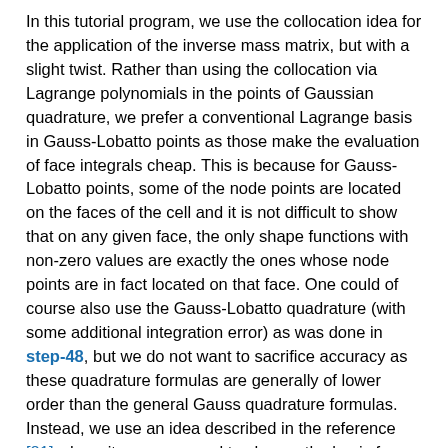In this tutorial program, we use the collocation idea for the application of the inverse mass matrix, but with a slight twist. Rather than using the collocation via Lagrange polynomials in the points of Gaussian quadrature, we prefer a conventional Lagrange basis in Gauss-Lobatto points as those make the evaluation of face integrals cheap. This is because for Gauss-Lobatto points, some of the node points are located on the faces of the cell and it is not difficult to show that on any given face, the only shape functions with non-zero values are exactly the ones whose node points are in fact located on that face. One could of course also use the Gauss-Lobatto quadrature (with some additional integration error) as was done in step-48, but we do not want to sacrifice accuracy as these quadrature formulas are generally of lower order than the general Gauss quadrature formulas. Instead, we use an idea described in the reference [81] where it was proposed to change the basis for the sake of applying the inverse mass matrix. Let us denote by S the matrix of shape functions evaluated at quadrature points, with shape functions in the row of the matrix and quadrature points in columns. Then, the mass matrix on a cell K is given by